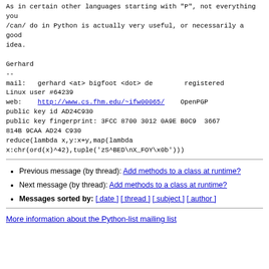As in certain other languages starting with "P", not everything you
/can/ do in Python is actually very useful, or necessarily a good
idea.

Gerhard
--
mail:   gerhard <at> bigfoot <dot> de        registered
Linux user #64239
web:    http://www.cs.fhm.edu/~ifw00065/    OpenPGP
public key id AD24C930
public key fingerprint: 3FCC 8700 3012 0A9E B0C9  3667
814B 9CAA AD24 C930
reduce(lambda x,y:x+y,map(lambda
x:chr(ord(x)^42),tuple('zS^BED\nX_FOY\x0b')))
Previous message (by thread): Add methods to a class at runtime?
Next message (by thread): Add methods to a class at runtime?
Messages sorted by: [ date ] [ thread ] [ subject ] [ author ]
More information about the Python-list mailing list